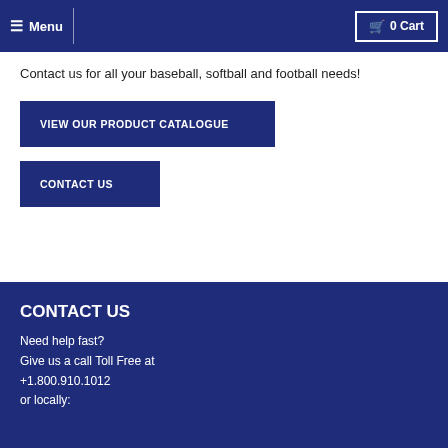Menu | 0 Cart
Contact us for all your baseball, softball and football needs!
VIEW OUR PRODUCT CATALOGUE
CONTACT US
CONTACT US
Need help fast?
Give us a call Toll Free at
+1.800.910.1012
or locally: